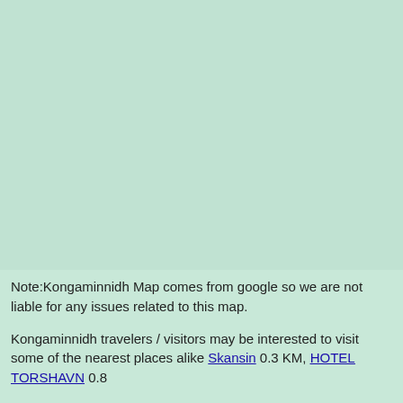[Figure (map): Kongaminnidh map from Google Maps showing a light green/teal map area]
Note:Kongaminnidh Map comes from google so we are not liable for any issues related to this map.
Kongaminnidh travelers / visitors may be interested to visit some of the nearest places alike Skansin 0.3 KM, HOTEL TORSHAVN 0.8